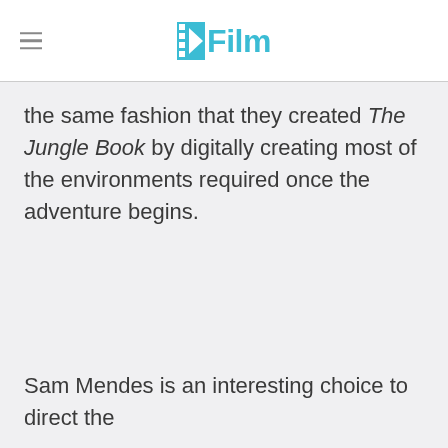/Film
the same fashion that they created The Jungle Book by digitally creating most of the environments required once the adventure begins.
Sam Mendes is an interesting choice to direct the